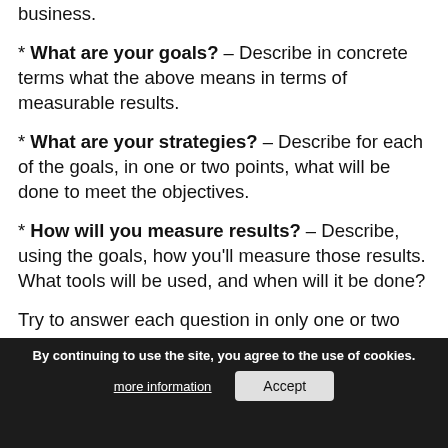business.
* What are your goals? – Describe in concrete terms what the above means in terms of measurable results.
* What are your strategies? – Describe for each of the goals, in one or two points, what will be done to meet the objectives.
* How will you measure results? – Describe, using the goals, how you'll measure those results. What tools will be used, and when will it be done?
Try to answer each question in only one or two sentences. The idea is to keep it short, succinct and to the point. If you can't keep it to the point now, it will be hard for you to do so when you're creating your marketing campaign.
Things to Remember
By continuing to use the site, you agree to the use of cookies.
* You can focus on one objective at a time.